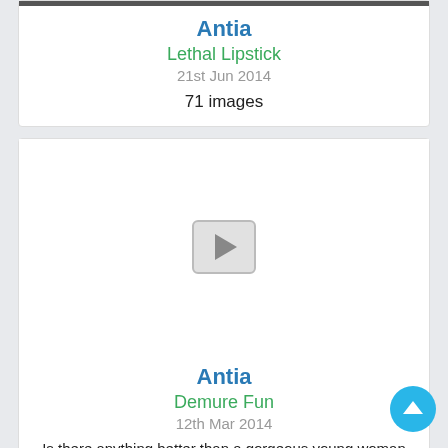[Figure (photo): Top of first card with dark image strip at top]
Antia
Lethal Lipstick
21st Jun 2014
71 images
[Figure (other): Video thumbnail with play button on second card]
Antia
Demure Fun
12th Mar 2014
Is there anything better than a gorgeous young woman stripping outt of her